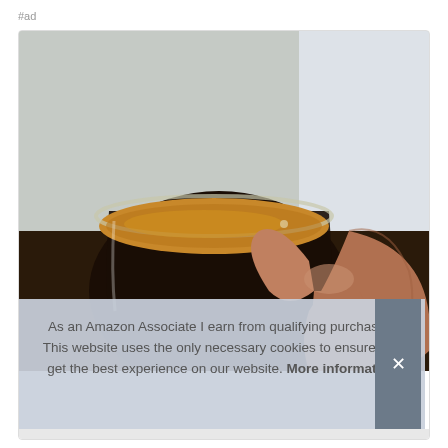#ad
[Figure (photo): A hand holding a glass cup of dark espresso coffee with a golden crema on top, against a light grey wall background.]
As an Amazon Associate I earn from qualifying purchases. This website uses the only necessary cookies to ensure you get the best experience on our website. More information